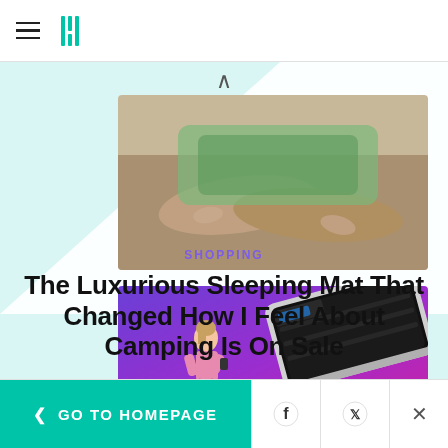HuffPost logo and navigation menu
[Figure (photo): Cropped image of a person's hands or arms, likely holding a sleeping mat or camping gear, upper portion visible]
SHOPPING
The Luxurious Sleeping Mat That Changed How I Feel About Camping Is On Sale
[Figure (photo): Woman walking on a compact under-desk treadmill/walking pad; product shown on purple gradient background]
< GO TO HOMEPAGE  [Facebook] [Twitter] [X]